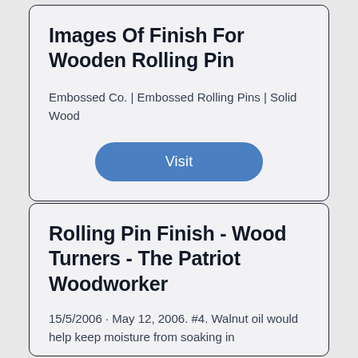Images Of Finish For Wooden Rolling Pin
Embossed Co. | Embossed Rolling Pins | Solid Wood
Visit
Rolling Pin Finish - Wood Turners - The Patriot Woodworker
15/5/2006  · May 12, 2006. #4. Walnut oil would help keep moisture from soaking in